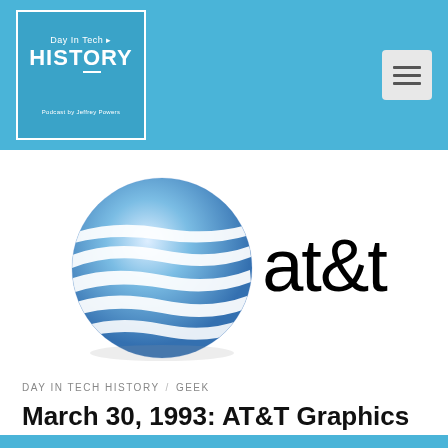Day In Tech HISTORY — Podcast by Jeffrey Powers
[Figure (logo): AT&T logo: blue and white globe sphere with horizontal white stripes on left, and 'at&t' wordmark in black on right]
DAY IN TECH HISTORY / GEEK
March 30, 1993: AT&T Graphics Software Labs Close